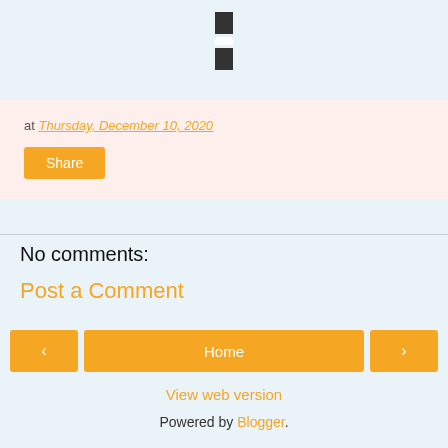[Figure (other): Two dark rectangular blocks stacked vertically with a white gap between them, resembling a share/menu icon]
at Thursday, December 10, 2020
Share
No comments:
Post a Comment
< Home >
View web version
Powered by Blogger.